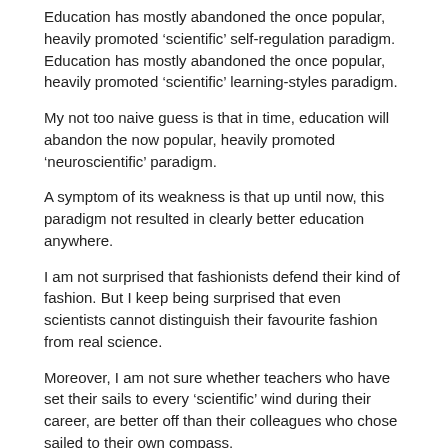Education has mostly abandoned the once popular, heavily promoted ‘scientific’ self-regulation paradigm.
Education has mostly abandoned the once popular, heavily promoted ‘scientific’ learning-styles paradigm.
My not too naive guess is that in time, education will abandon the now popular, heavily promoted ‘neuroscientific’ paradigm.
A symptom of its weakness is that up until now, this paradigm not resulted in clearly better education anywhere.
I am not surprised that fashionists defend their kind of fashion. But I keep being surprised that even scientists cannot distinguish their favourite fashion from real science.
Moreover, I am not sure whether teachers who have set their sails to every ‘scientific’ wind during their career, are better off than their colleagues who chose sailed to their own compass.
★ Like
Reply